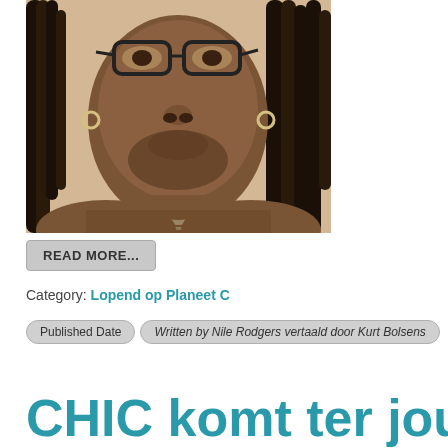[Figure (photo): Portrait photo of a person with dreadlocks, glasses, hoop earrings, and a chain necklace, shirtless, against a light background]
READ MORE...
Category: Lopend op Planeet C
Published Date
Written by Nile Rodgers vertaald door Kurt Bolsens
CHIC komt ter jouw b...